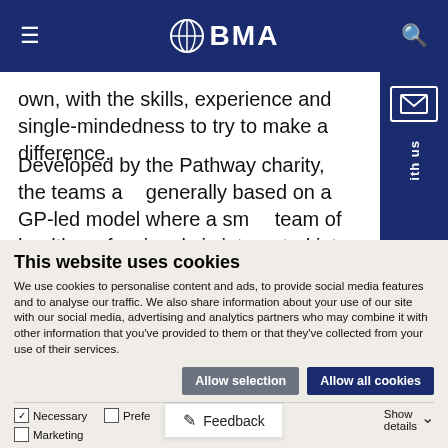BMA
own, with the skills, experience and single-mindedness to try to make a difference.
Developed by the Pathway charity, the teams are generally based on a GP-led model where a small team of health professionals is integrated into a hospital trust, in a bid to help find accommodation and support for patients and avoid discharge to...
This website uses cookies
We use cookies to personalise content and ads, to provide social media features and to analyse our traffic. We also share information about your use of our site with our social media, advertising and analytics partners who may combine it with other information that you've provided to them or that they've collected from your use of their services.
Allow selection   Allow all cookies
Necessary   Preferences   Statistics   Marketing   Show details   Feedback